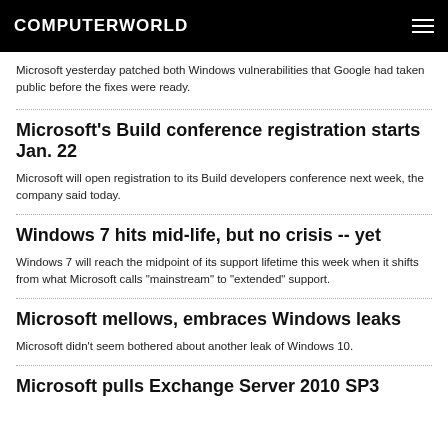COMPUTERWORLD
Microsoft yesterday patched both Windows vulnerabilities that Google had taken public before the fixes were ready.
Microsoft's Build conference registration starts Jan. 22
Microsoft will open registration to its Build developers conference next week, the company said today.
Windows 7 hits mid-life, but no crisis -- yet
Windows 7 will reach the midpoint of its support lifetime this week when it shifts from what Microsoft calls "mainstream" to "extended" support.
Microsoft mellows, embraces Windows leaks
Microsoft didn't seem bothered about another leak of Windows 10.
Microsoft pulls Exchange Server 2010 SP3